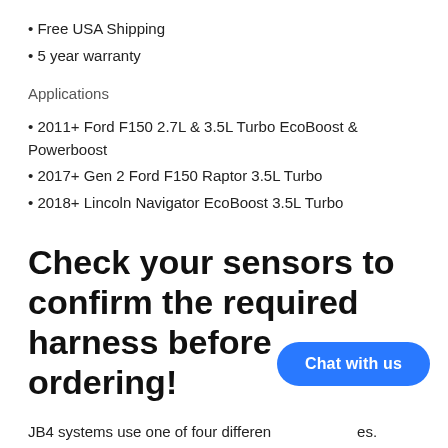Free USA Shipping
5 year warranty
Applications
2011+ Ford F150 2.7L & 3.5L Turbo EcoBoost & Powerboost
2017+ Gen 2 Ford F150 Raptor 3.5L Turbo
2018+ Lincoln Navigator EcoBoost 3.5L Turbo
Check your sensors to confirm the required harness before ordering!
JB4 systems use one of four differen harness types. You'll need to locate and identify both the charge pipe and intake manifold MAP sensors, generally on the